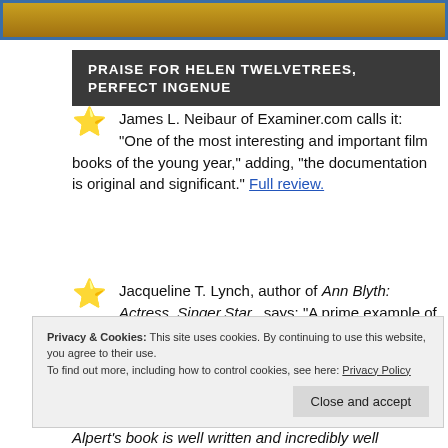[Figure (other): Top decorative image strip with gold/amber gradient and blue border]
PRAISE FOR HELEN TWELVETREES, PERFECT INGENUE
James L. Neibaur of Examiner.com calls it: "One of the most interesting and important film books of the young year," adding, "the documentation is original and significant." Full review.
Jacqueline T. Lynch, author of Ann Blyth: Actress. Singer.Star., says: "A prime example of a classic film fan taking the reins to produce a scholarly study of a neglected figure from the Golden Age of classic films in
Privacy & Cookies: This site uses cookies. By continuing to use this website, you agree to their use.
To find out more, including how to control cookies, see here: Privacy Policy
Close and accept
Alpert's book is well written and incredibly well